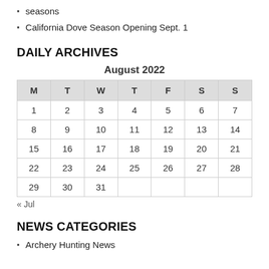seasons
California Dove Season Opening Sept. 1
DAILY ARCHIVES
| M | T | W | T | F | S | S |
| --- | --- | --- | --- | --- | --- | --- |
| 1 | 2 | 3 | 4 | 5 | 6 | 7 |
| 8 | 9 | 10 | 11 | 12 | 13 | 14 |
| 15 | 16 | 17 | 18 | 19 | 20 | 21 |
| 22 | 23 | 24 | 25 | 26 | 27 | 28 |
| 29 | 30 | 31 |  |  |  |  |
« Jul
NEWS CATEGORIES
Archery Hunting News